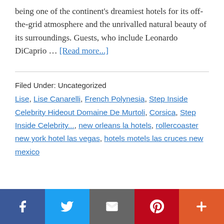being one of the continent's dreamiest hotels for its off-the-grid atmosphere and the unrivalled natural beauty of its surroundings. Guests, who include Leonardo DiCaprio … [Read more...]
Filed Under: Uncategorized
Lise, Lise Canarelli, French Polynesia, Step Inside Celebrity Hideout Domaine De Murtoli, Corsica, Step Inside Celebrity..., new orleans la hotels, rollercoaster new york hotel las vegas, hotels motels las cruces new mexico
[Figure (infographic): Social sharing bar with icons for Facebook, Twitter, Email, Pinterest, and More (plus sign)]